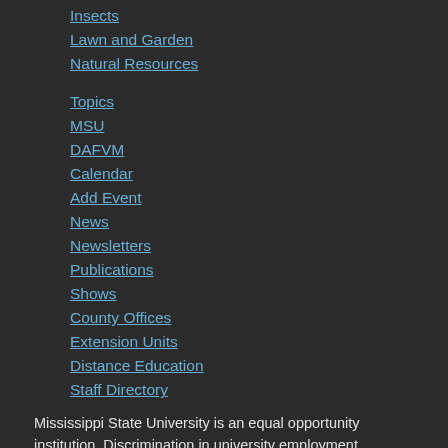Insects
Lawn and Garden
Natural Resources
Topics
MSU
DAFVM
Calendar
Add Event
News
Newsletters
Publications
Shows
County Offices
Extension Units
Distance Education
Staff Directory
Mississippi State University is an equal opportunity institution. Discrimination in university employment, programs, or activities based on race, color, ethnicity, sex, pregnancy, religion, national origin, disability, age, sexual orientation, gender identity, genetic information, status as a U.S. veteran, or any other status protected by applicable law is prohibited.